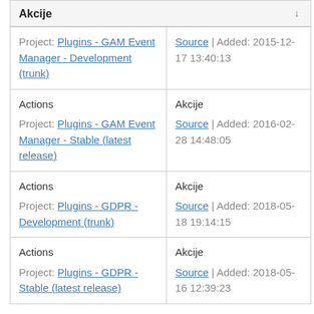| Akcije |  |
| --- | --- |
| Project: Plugins - GAM Event Manager - Development (trunk) | Source | Added: 2015-12-17 13:40:13 |
| Actions

Project: Plugins - GAM Event Manager - Stable (latest release) | Akcije

Source | Added: 2016-02-28 14:48:05 |
| Actions

Project: Plugins - GDPR - Development (trunk) | Akcije

Source | Added: 2018-05-18 19:14:15 |
| Actions

Project: Plugins - GDPR - Stable (latest release) | Akcije

Source | Added: 2018-05-16 12:39:23 |